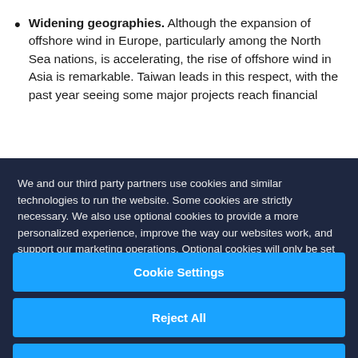Widening geographies. Although the expansion of offshore wind in Europe, particularly among the North Sea nations, is accelerating, the rise of offshore wind in Asia is remarkable. Taiwan leads in this respect, with the past year seeing some major projects reach financial
We and our third party partners use cookies and similar technologies to run the website. Some cookies are strictly necessary. We also use optional cookies to provide a more personalized experience, improve the way our websites work, and support our marketing operations. Optional cookies will only be set with your consent. You can manage your cookie preferences through the “Cookie Settings” button. For more information, see our Privacy Notice and Cookie Notice.
Cookie Settings
Reject All